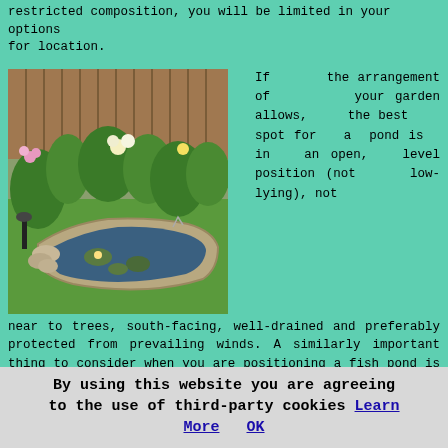restricted composition, you will be limited in your options for location.
[Figure (photo): Garden pond with stone edging surrounded by green grass, water lilies, and flowering plants, with a wooden fence in the background.]
If the arrangement of your garden allows, the best spot for a pond is in an open, level position (not low-lying), not near to trees, south-facing, well-drained and preferably protected from prevailing winds. A similarly important thing to consider when you are positioning a fish pond is its visual appeal. Think about whereabouts in your garden the pond will look its best and offer you the most visual pleasure. Give some thought to the view from the patio and also from the inside of your house.
How you're planning to look after your pond and make sure
By using this website you are agreeing to the use of third-party cookies Learn More OK